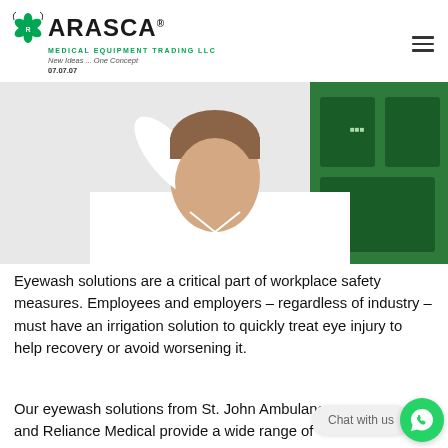ARASCA MEDICAL EQUIPMENT TRADING LLC — New Ideas ... One Concept 07.07.07
[Figure (photo): Man in white shirt using a blue eye wash cup, with a green first aid wall station in background]
Eyewash solutions are a critical part of workplace safety measures. Employees and employers – regardless of industry – must have an irrigation solution to quickly treat eye injury to help recovery or avoid worsening it.
Our eyewash solutions from St. John Ambulance and Reliance Medical provide a wide range of